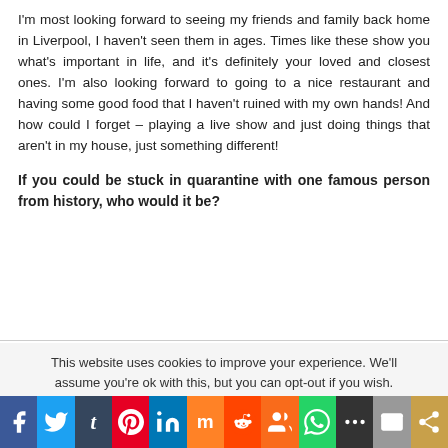I'm most looking forward to seeing my friends and family back home in Liverpool, I haven't seen them in ages. Times like these show you what's important in life, and it's definitely your loved and closest ones. I'm also looking forward to going to a nice restaurant and having some good food that I haven't ruined with my own hands! And how could I forget – playing a live show and just doing things that aren't in my house, just something different!
If you could be stuck in quarantine with one famous person from history, who would it be?
This website uses cookies to improve your experience. We'll assume you're ok with this, but you can opt-out if you wish.